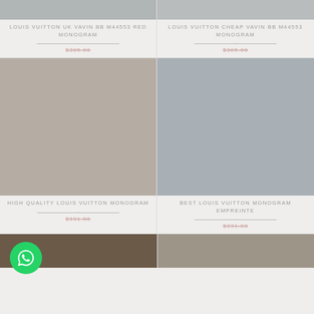[Figure (photo): Top stub of product image - gray/blue-gray color swatch]
LOUIS VUITTON UK VAVIN BB M44553 RED MONOGRAM
$305.00
[Figure (photo): Top stub of product image - gray color swatch]
LOUIS VUITTON CHEAP VAVIN BB M44553 MONOGRAM
$305.00
[Figure (photo): Large product image - warm taupe/beige color swatch]
HIGH QUALITY LOUIS VUITTON MONOGRAM
$331.00
[Figure (photo): Large product image - cool blue-gray color swatch]
BEST LOUIS VUITTON MONOGRAM EMPREINTE
$331.00
[Figure (photo): Bottom stub of product image - dark brown color swatch]
[Figure (photo): Bottom stub of product image - warm taupe color swatch]